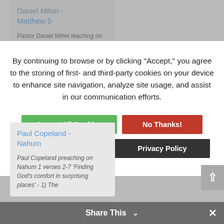Daniel Mihet - Matthew 5
Pastor Daniel Mihet teaching on Matthew 5 verse 6 'Hungry & a thirst for
By continuing to browse or by clicking "Accept," you agree to the storing of first- and third-party cookies on your device to enhance site navigation, analyze site usage, and assist in our communication efforts.
Accept All Cookies
No Thanks!
Cookie Settings
Privacy Policy
Paul Copeland - Nahum
Paul Copeland preaching on Nahum 1 verses 2-7 'Finding God's comfort in surprising places' - 1) The
Share This ∨
✕